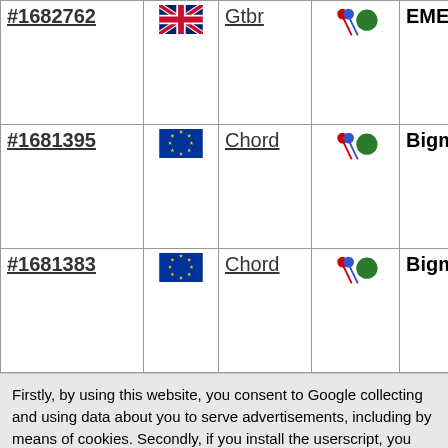| ID | Flag | Server | Icon | Name | Code |
| --- | --- | --- | --- | --- | --- |
| #1682762 | GBR | Gtbr |  | EMERALD | BLO... |
| #1681395 | EU | Chord |  | Bigmouth | BMC... |
| #1681383 | EU | Chord |  | Bigmouth | BLO... |
Firstly, by using this website, you consent to Google collecting and using data about you to serve advertisements, including by means of cookies. Secondly, if you install the userscript, you consent to using a cookie and your IP address to track your TagPro matches for fraud mitigation. See the privacy policy for more info. OK